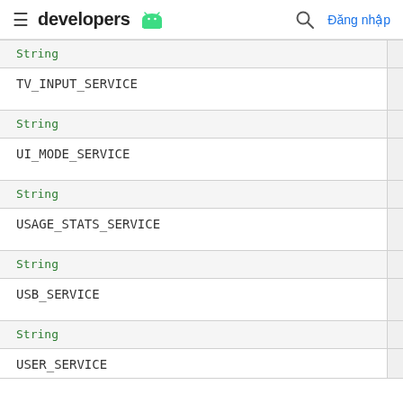developers [android logo] [search] Đăng nhập
| Type | Constant |
| --- | --- |
| String | TV_INPUT_SERVICE |
| String | UI_MODE_SERVICE |
| String | USAGE_STATS_SERVICE |
| String | USB_SERVICE |
| String | USER_SERVICE |